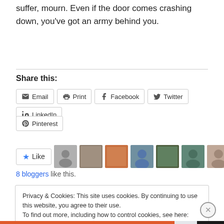suffer, mourn. Even if the door comes crashing down, you've got an army behind you.
Share this:
Email
Print
Facebook
Twitter
LinkedIn
Pinterest
[Figure (screenshot): Like button and blogger avatars row, with 8 bloggers like this text]
8 bloggers like this.
Privacy & Cookies: This site uses cookies. By continuing to use this website, you agree to their use. To find out more, including how to control cookies, see here: Cookie Policy